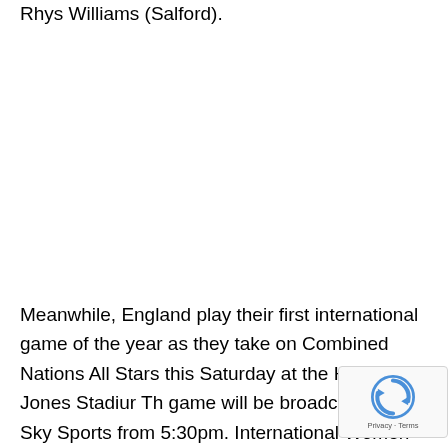Rhys Williams (Salford).
Meanwhile, England play their first international game of the year as they take on Combined Nations All Stars this Saturday at the Halliwell Jones Stadium. The game will be broadcast live on Sky Sports from 5:30pm. International Women kick-off the double head